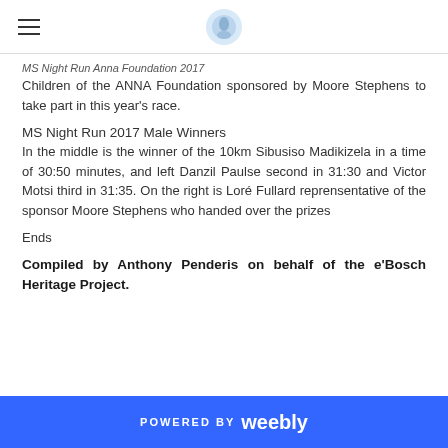MS Night Run Anna Foundation 2017
Children of the ANNA Foundation sponsored by Moore Stephens to take part in this year's race.
MS Night Run 2017 Male Winners
In the middle is the winner of the 10km Sibusiso Madikizela in a time of 30:50 minutes, and left Danzil Paulse second in 31:30 and Victor Motsi third in 31:35. On the right is Loré Fullard reprensentative of the sponsor Moore Stephens who handed over the prizes
Ends
Compiled by Anthony Penderis on behalf of the e'Bosch Heritage Project.
POWERED BY weebly